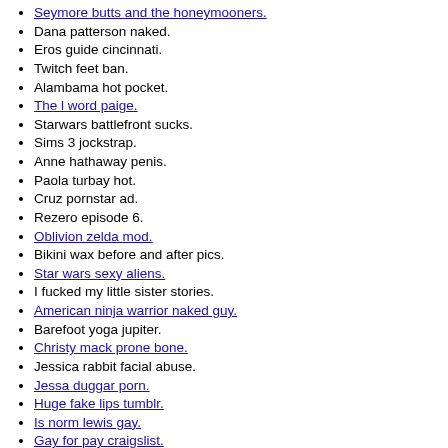Seymore butts and the honeymooners.
Dana patterson naked.
Eros guide cincinnati.
Twitch feet ban.
Alambama hot pocket.
The l word paige.
Starwars battlefront sucks.
Sims 3 jockstrap.
Anne hathaway penis.
Paola turbay hot.
Cruz pornstar ad.
Rezero episode 6.
Oblivion zelda mod.
Bikini wax before and after pics.
Star wars sexy aliens.
I fucked my little sister stories.
American ninja warrior naked guy.
Barefoot yoga jupiter.
Christy mack prone bone.
Jessica rabbit facial abuse.
Jessa duggar porn.
Huge fake lips tumblr.
Is norm lewis gay.
Gay for pay craigslist.
Andrea legarreta sexy.